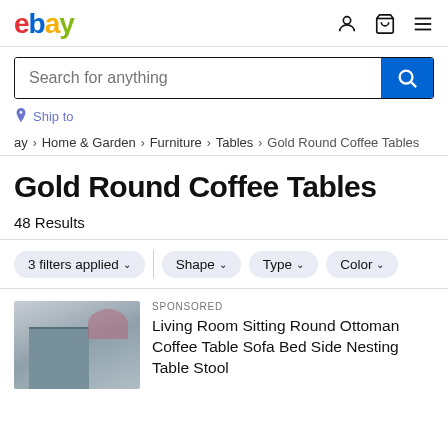[Figure (screenshot): eBay website header with logo and navigation icons]
[Figure (screenshot): Search bar with 'Search for anything' placeholder and blue search button]
Ship to
ay > Home & Garden > Furniture > Tables > Gold Round Coffee Tables
Gold Round Coffee Tables
48 Results
3 filters applied  Shape  Type  Color
SPONSORED
Living Room Sitting Round Ottoman Coffee Table Sofa Bed Side Nesting Table Stool